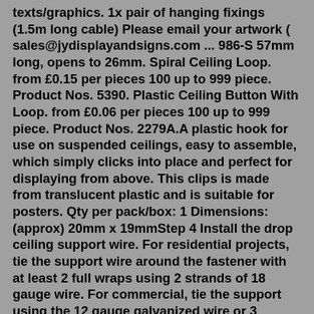texts/graphics. 1x pair of hanging fixings (1.5m long cable) Please email your artwork ( sales@jydisplayandsigns.com ... 986-S 57mm long, opens to 26mm. Spiral Ceiling Loop. from £0.15 per pieces 100 up to 999 piece. Product Nos. 5390. Plastic Ceiling Button With Loop. from £0.06 per pieces 100 up to 999 piece. Product Nos. 2279A.A plastic hook for use on suspended ceilings, easy to assemble, which simply clicks into place and perfect for displaying from above. This clips is made from translucent plastic and is suitable for posters. Qty per pack/box: 1 Dimensions: (approx) 20mm x 19mmStep 4 Install the drop ceiling support wire. For residential projects, tie the support wire around the fastener with at least 2 full wraps using 2 strands of 18 gauge wire. For commercial, tie the support using the 12 gauge galvanized wire or 3 strands of 18 gauge wire. In all cases at least 2 full wraps must be completed. Fixings for a suspended ceiling are much like fixings for plasterboard walls, but they play a significant role in the structure and support the